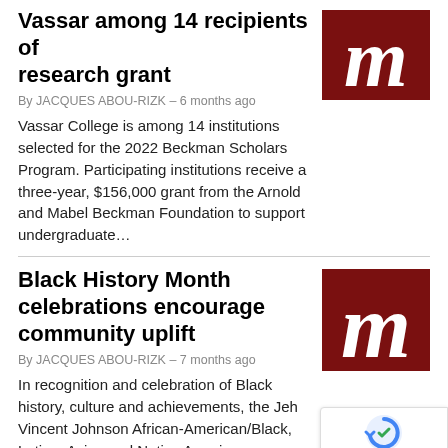Vassar among 14 recipients of research grant
By JACQUES ABOU-RIZK – 6 months ago
Vassar College is among 14 institutions selected for the 2022 Beckman Scholars Program. Participating institutions receive a three-year, $156,000 grant from the Arnold and Mabel Beckman Foundation to support undergraduate…
[Figure (logo): Newspaper logo: dark red background with white ornate letter M in blackletter/Gothic style]
Black History Month celebrations encourage community uplift
By JACQUES ABOU-RIZK – 7 months ago
In recognition and celebration of Black history, culture and achievements, the Jeh Vincent Johnson African-American/Black, Latino, Asian and Native American (ALANA) Center holds an annual series of events and presentati…
[Figure (logo): Newspaper logo: dark red background with white ornate letter M in blackletter/Gothic style]
1